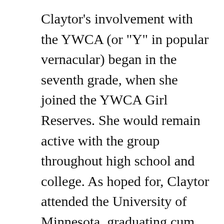Claytor's involvement with the YWCA (or "Y" in popular vernacular) began in the seventh grade, when she joined the YWCA Girl Reserves. She would remain active with the group throughout high school and college. As hoped for, Claytor attended the University of Minnesota, graduating cum laude in 1928 as vale-dictorian of her class and as a member of Phi Beta Kappa. She had hoped to enter the teaching profession but was faced with the fact that teaching jobs for blacks were nonexistent—even for someone with her credentials. Most blacks in her position looked for employment in